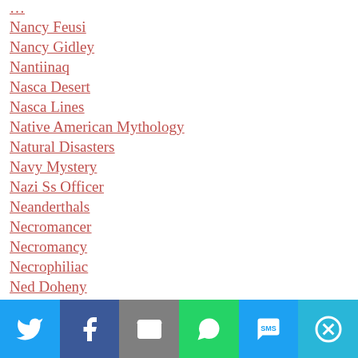Nancy Feusi
Nancy Gidley
Nantiinaq
Nasca Desert
Nasca Lines
Native American Mythology
Natural Disasters
Navy Mystery
Nazi Ss Officer
Neanderthals
Necromancer
Necromancy
Necrophiliac
Ned Doheny
Negro Of Banyoles
Nellie Koulik
Social sharing bar with Twitter, Facebook, Email, WhatsApp, SMS, More buttons